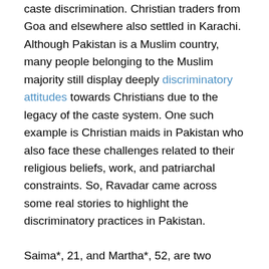caste discrimination. Christian traders from Goa and elsewhere also settled in Karachi. Although Pakistan is a Muslim country, many people belonging to the Muslim majority still display deeply discriminatory attitudes towards Christians due to the legacy of the caste system. One such example is Christian maids in Pakistan who also face these challenges related to their religious beliefs, work, and patriarchal constraints. So, Ravadar came across some real stories to highlight the discriminatory practices in Pakistan.
Saima*, 21, and Martha*, 52, are two Christian mother and daughter domestic workers from Islamabad who used to work at the same house. One day, a male housemaster told Martha not to accompany her daughter to work but to send her alone. This sounded alarming, and when the